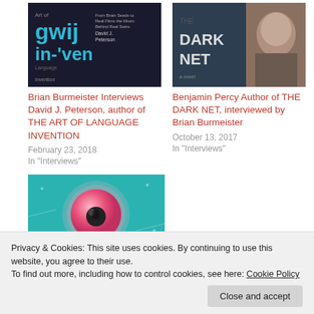[Figure (photo): Book cover for 'The Art of Language Invention' by David J. Peterson with stylized text 'gwij in-ven']
Brian Burmeister Interviews David J. Peterson, author of THE ART OF LANGUAGE INVENTION
February 23, 2018
In "Interviews"
[Figure (photo): Book cover for 'The Dark Net' novel and author photo of Benjamin Percy]
Benjamin Percy Author of THE DARK NET, interviewed by Brian Burmeister
October 13, 2017
In "Interviews"
[Figure (illustration): Teal background with a pink bubble/sphere containing a dark circular element, decorative illustration]
Privacy & Cookies: This site uses cookies. By continuing to use this website, you agree to their use.
To find out more, including how to control cookies, see here: Cookie Policy
June 14, 2021